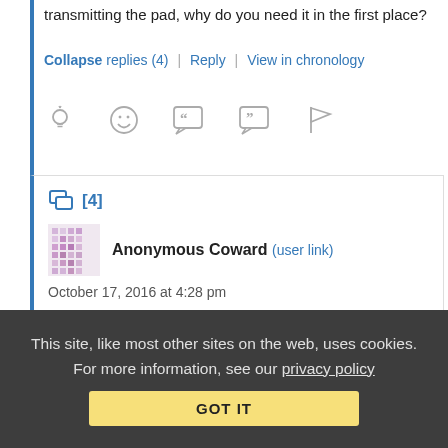transmitting the pad, why do you need it in the first place?
Collapse replies (4) | Reply | View in chronology
[Figure (infographic): Row of comment action icons: lightbulb, laughing emoji, open-quote speech bubble, close-quote speech bubble, flag]
[4]
Anonymous Coward (user link)
October 17, 2016 at 4:28 pm
Re: Re: Re: Re:
This site, like most other sites on the web, uses cookies. For more information, see our privacy policy
GOT IT